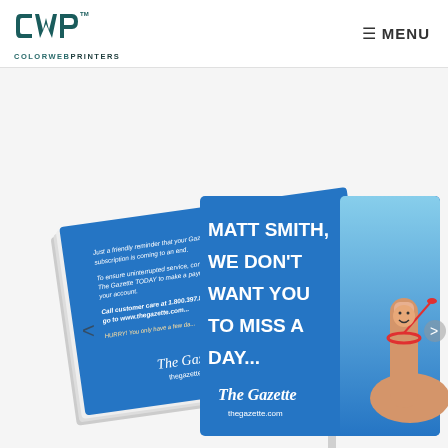[Figure (logo): CWP ColorWebPrinters logo — bold teal/dark teal CWP letters with 'COLORWEBPRINTERS' text below]
≡  MENU
[Figure (photo): Product photo of printed postcards/direct mail pieces. One postcard in foreground shows 'MATT SMITH, WE DON'T WANT YOU TO MISS A DAY...' in large white bold text on blue background, with The Gazette logo and a finger with a smiley face tied with red string. A stack of similar postcards in background shows the back side with subscription reminder text for The Gazette newspaper.]